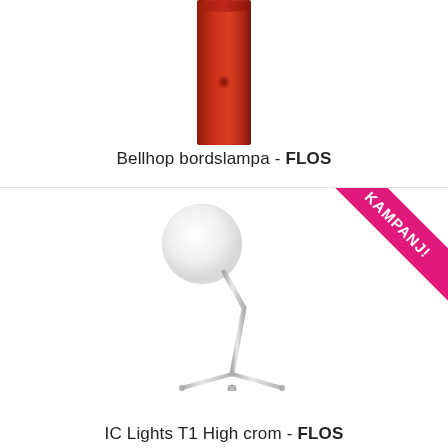[Figure (photo): Red cylindrical Bellhop table lamp by FLOS, shown from above, partially cropped at top]
Bellhop bordslampa - FLOS
[Figure (photo): IC Lights T1 High chrome table lamp by FLOS with white globe shade on chrome stem and tripod base, with KAMPANJ! ribbon banner in top right corner]
IC Lights T1 High crom - FLOS